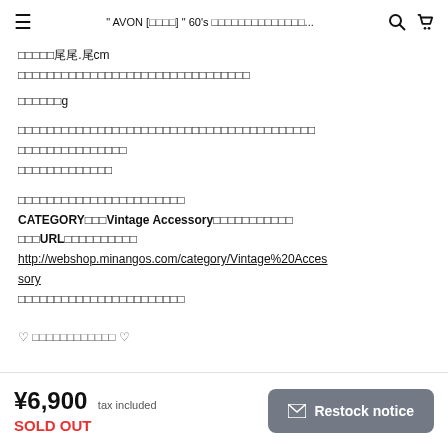≡  " AVON [□□□□] " 60's □□□□□□□□□□□□□□...  🔍  🛒
□□□□□□□□.□cm
□□□□□□□□□□□□□□□□□□□□□□□□□□□□□□
□□□□□□□g
□□□□□□□□□□□□□□□□□□□□□□□□□□□□□□□□□□□□□□□□□
□□□□□□□□□□□□□□
□□□□□□□□□□□□□
□□□□□□□□□□□□□□□□□□□□□□□
CATEGORY□□□Vintage Accessory□□□□□□□□□□□□
□□□URL□□□□□□□□□□
http://webshop.minangos.com/category/Vintage%20Accessory
□□□□□□□□□□□□□□□□□□□□□□□
✩ □□□□□□□□□□□□ ✩
¥6,900  tax included
SOLD OUT